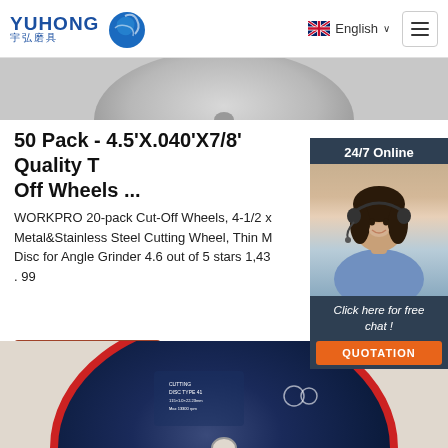YUHONG 宇弘磨具 | English
[Figure (photo): Partial view of a grinding/cut-off disc from above, grey metallic disc shown at top]
50 Pack - 4.5'X.040'X7/8' Quality T Off Wheels ...
WORKPRO 20-pack Cut-Off Wheels, 4-1/2 x Metal&Stainless Steel Cutting Wheel, Thin M Disc for Angle Grinder 4.6 out of 5 stars 1,43 . 99
[Figure (photo): Customer service representative with headset, smiling, sidebar chat widget with 24/7 Online header, Click here for free chat text, and QUOTATION button]
[Figure (photo): Blue/navy cut-off wheel disc with red edge and printed text label, partially shown at bottom of page]
[Figure (logo): TOP back-to-top link with orange dots arc above text]